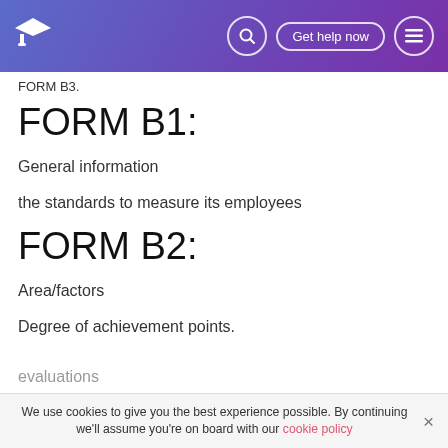FORM B3. [navigation header with logo, search, Get help now, menu]
FORM B3.
FORM B1:
General information
the standards to measure its employees
FORM B2:
Area/factors
Degree of achievement points.
evaluations
We use cookies to give you the best experience possible. By continuing we'll assume you're on board with our cookie policy